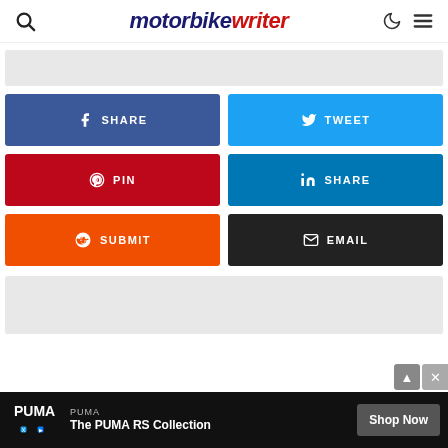motorbike writer — navigation header with search, dark mode, and menu icons
[Figure (screenshot): Gray ad placeholder banner at top]
[Figure (infographic): Social share buttons grid: SHARE (Facebook, blue), TWEET (Twitter, light blue), PIN (Pinterest, red), SHARE (LinkedIn, blue), SUBMIT (Reddit, orange), EMAIL (black)]
[Figure (screenshot): Gray ad placeholder banner at bottom]
[Figure (screenshot): PUMA advertisement bar at page bottom: PUMA - The PUMA RS Collection - Shop Now button]